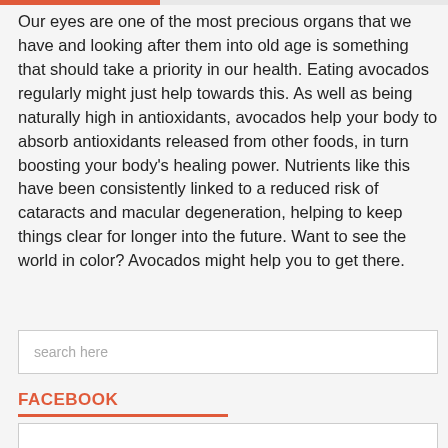Our eyes are one of the most precious organs that we have and looking after them into old age is something that should take a priority in our health. Eating avocados regularly might just help towards this. As well as being naturally high in antioxidants, avocados help your body to absorb antioxidants released from other foods, in turn boosting your body's healing power. Nutrients like this have been consistently linked to a reduced risk of cataracts and macular degeneration, helping to keep things clear for longer into the future. Want to see the world in color? Avocados might help you to get there.
search here
FACEBOOK